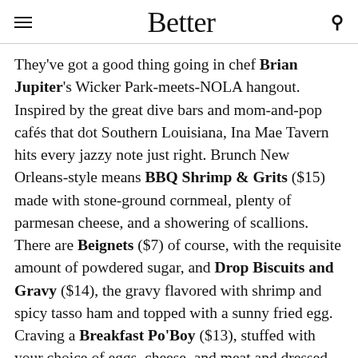Better
They've got a good thing going in chef Brian Jupiter's Wicker Park-meets-NOLA hangout. Inspired by the great dive bars and mom-and-pop cafés that dot Southern Louisiana, Ina Mae Tavern hits every jazzy note just right. Brunch New Orleans-style means BBQ Shrimp & Grits ($15) made with stone-ground cornmeal, plenty of parmesan cheese, and a showering of scallions. There are Beignets ($7) of course, with the requisite amount of powdered sugar, and Drop Biscuits and Gravy ($14), the gravy flavored with shrimp and spicy tasso ham and topped with a sunny fried egg. Craving a Breakfast Po'Boy ($13), stuffed with your choice of eggs, cheese, and meat and dressed just right? You're exactly where you're supposed to be. Brunch cocktails get in that NOLA